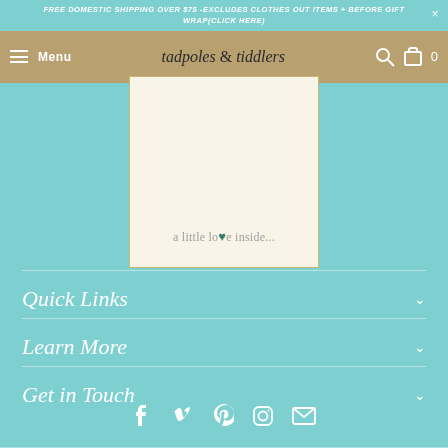FREE DOMESTIC SHIPPING OVER $75 -EXCLUDES CLOTHES OUT ITEMS + BEFORE GIFT WRAP(Click here)
[Figure (screenshot): Navigation bar with hamburger menu, 'Menu' text, tadpoles & tiddlers logo, search icon, cart icon with 0]
[Figure (photo): Product gift wrap card showing 'a little love inside...' text on cream background with gold border]
Quick Links
Learn More
Get in Touch
[Figure (infographic): Social media icons: Facebook, Vimeo, Pinterest, Instagram, Email]